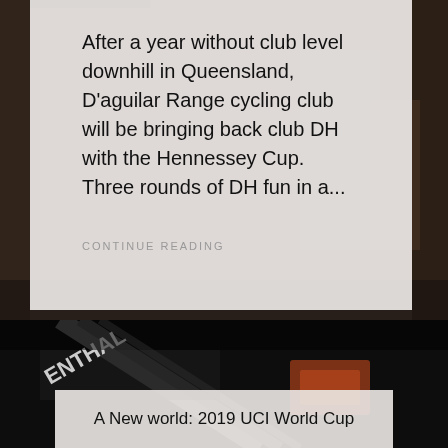After a year without club level downhill in Queensland, D'aguilar Range cycling club will be bringing back club DH with the Hennessey Cup. Three rounds of DH fun in a...
CONTINUE READING
[Figure (photo): Close-up photo of mountain bike handlebars and components, showing Renthal branded parts with orange accents against a dark background]
A New world: 2019 UCI World Cup